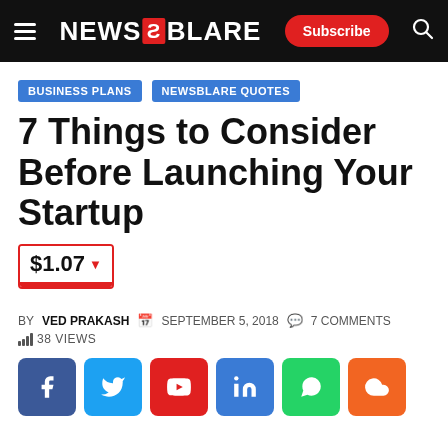NEWSBLARE — Subscribe
BUSINESS PLANS   NEWSBLARE QUOTES
7 Things to Consider Before Launching Your Startup
$1.07 ▼
BY VED PRAKASH  SEPTEMBER 5, 2018  7 COMMENTS
38 VIEWS
[Figure (other): Social share buttons: Facebook, Twitter, YouTube, LinkedIn, WhatsApp, SoundCloud/cloud]